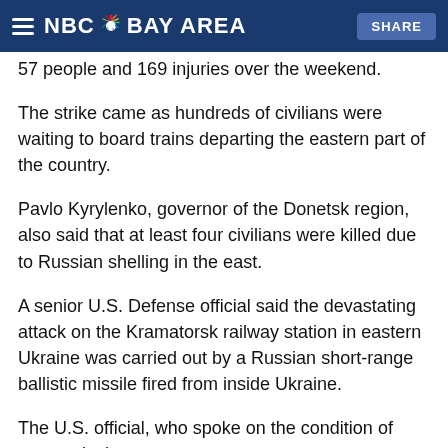NBC Bay Area
57 people and 169 injuries over the weekend.
The strike came as hundreds of civilians were waiting to board trains departing the eastern part of the country.
Pavlo Kyrylenko, governor of the Donetsk region, also said that at least four civilians were killed due to Russian shelling in the east.
A senior U.S. Defense official said the devastating attack on the Kramatorsk railway station in eastern Ukraine was carried out by a Russian short-range ballistic missile fired from inside Ukraine.
The U.S. official, who spoke on the condition of anonymity in